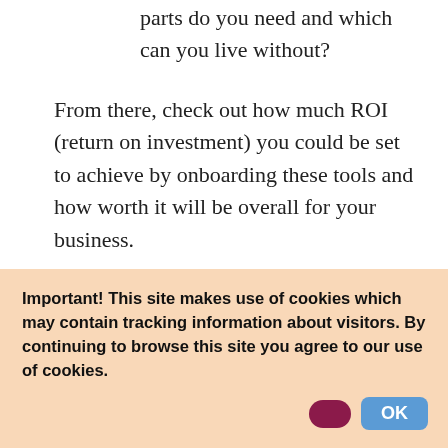parts do you need and which can you live without?
From there, check out how much ROI (return on investment) you could be set to achieve by onboarding these tools and how worth it will be overall for your business.
Step 2: Monitor your competition
Knowing what your competitors do and who they collaborate with to promote their products can
Important! This site makes use of cookies which may contain tracking information about visitors. By continuing to browse this site you agree to our use of cookies.